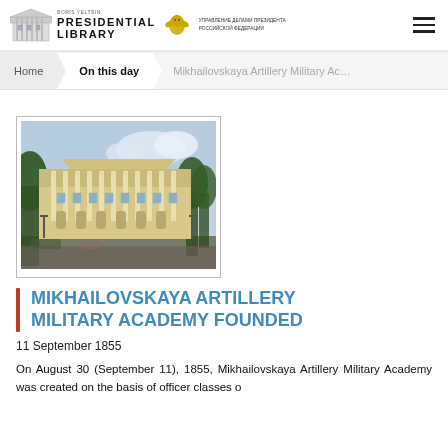BORIS YELTSIN PRESIDENTIAL LIBRARY | УПРАВЛЕНИЕ ДЕЛАМИ ПРЕЗИДЕНТА РОССИЙСКОЙ ФЕДЕРАЦИИ
Home > On this day > Mikhailovskaya Artillery Military Ac...
[Figure (photo): Photograph of the Mikhailovskaya Artillery Military Academy building - a neoclassical structure with white columns, yellow facade, trees in foreground]
MIKHAILOVSKAYA ARTILLERY MILITARY ACADEMY FOUNDED
11 September 1855
On August 30 (September 11), 1855, Mikhailovskaya Artillery Military Academy was created on the basis of officer classes o...